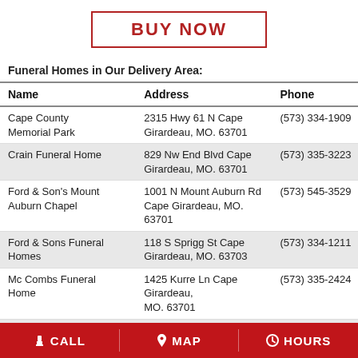BUY NOW
Funeral Homes in Our Delivery Area:
| Name | Address | Phone |
| --- | --- | --- |
| Cape County Memorial Park | 2315 Hwy 61 N Cape Girardeau, MO. 63701 | (573) 334-1909 |
| Crain Funeral Home | 829 Nw End Blvd Cape Girardeau, MO. 63701 | (573) 335-3223 |
| Ford & Son's Mount Auburn Chapel | 1001 N Mount Auburn Rd Cape Girardeau, MO. 63701 | (573) 545-3529 |
| Ford & Sons Funeral Homes | 118 S Sprigg St Cape Girardeau, MO. 63703 | (573) 334-1211 |
| Mc Combs Funeral Home | 1425 Kurre Ln Cape Girardeau, MO. 63701 | (573) 335-2424 |
| Cracraft-Miller | 708 W Main St Jackson, MO. | (573) 243-2541 |
CALL  MAP  HOURS